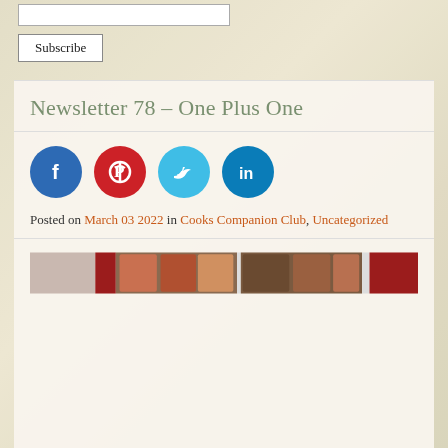[input field]
Subscribe
Newsletter 78 – One Plus One
[Figure (infographic): Four social media icon circles: Facebook (blue), Pinterest (red), Twitter (light blue), LinkedIn (dark blue)]
Posted on March 03 2022 in Cooks Companion Club, Uncategorized
[Figure (photo): A horizontal banner of food/cooking related images showing what appears to be kitchen items, food products, and ingredients in warm tones with red accents]